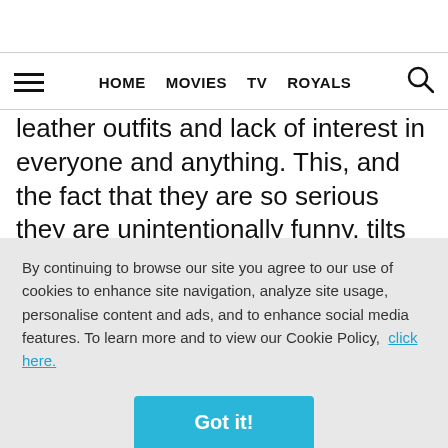HOME  MOVIES  TV  ROYALS
leather outfits and lack of interest in everyone and anything. This, and the fact that they are so serious they are unintentionally funny, tilts them into camp territory, I think.

Here’s what I do know. I could watch Mary-Kate say “let’s go” to her sister over and over again. (12
By continuing to browse our site you agree to our use of cookies to enhance site navigation, analyze site usage, personalise content and ads, and to enhance social media features. To learn more and to view our Cookie Policy, click here.